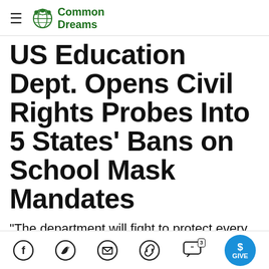Common Dreams
US Education Dept. Opens Civil Rights Probes Into 5 States' Bans on School Mask Mandates
"The department will fight to protect every student's right to access in-person learning safely and the rights of local educators to put in place policies that allow all students to return to the classroom full-time in-